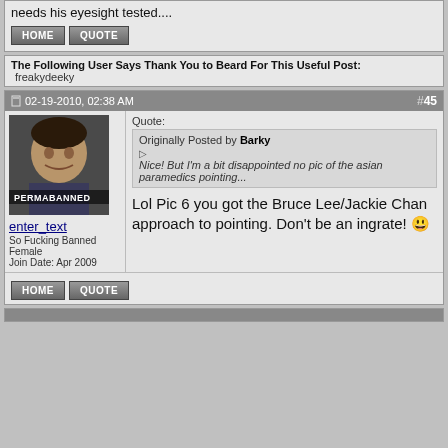needs his eyesight tested....
HOME  QUOTE
The Following User Says Thank You to Beard For This Useful Post: freakydeeky
02-19-2010, 02:38 AM  #45
[Figure (photo): Avatar image of user enter_text with PERMABANNED watermark overlay, showing a person's face]
enter_text
So Fucking Banned
Female
Join Date: Apr 2009
Quote:
Originally Posted by Barky
Nice! But I'm a bit disappointed no pic of the asian paramedics pointing...
Lol Pic 6 you got the Bruce Lee/Jackie Chan approach to pointing. Don't be an ingrate!
HOME  QUOTE